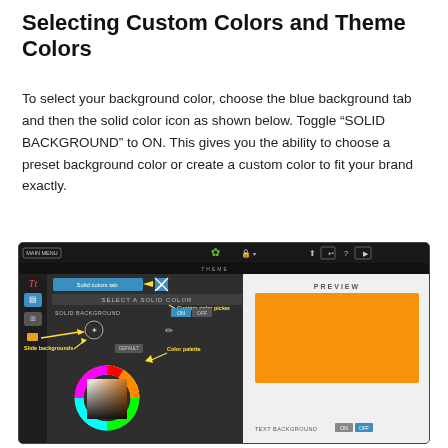Selecting Custom Colors and Theme Colors
To select your background color, choose the blue background tab and then the solid color icon as shown below. Toggle “SOLID BACKGROUND” to ON. This gives you the ability to choose a preset background color or create a custom color to fit your brand exactly.
[Figure (screenshot): Screenshot of a color selection UI showing a dark-themed editor with solid color tab selected, color wheel, custom color picker annotation, slide backgrounds annotation, color palette annotation, a preview pane showing an orange background, and text background toggle set to OFF.]